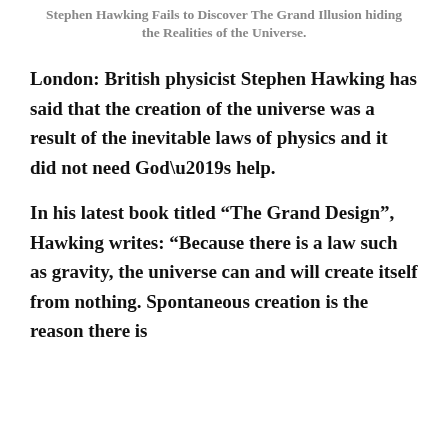Stephen Hawking Fails to Discover The Grand Illusion hiding the Realities of the Universe.
London: British physicist Stephen Hawking has said that the creation of the universe was a result of the inevitable laws of physics and it did not need God’s help.
In his latest book titled “The Grand Design”, Hawking writes: “Because there is a law such as gravity, the universe can and will create itself from nothing. Spontaneous creation is the reason there is